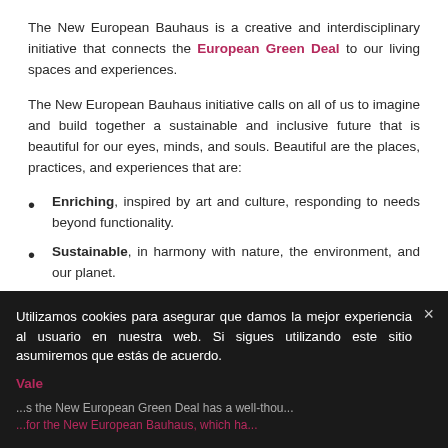The New European Bauhaus is a creative and interdisciplinary initiative that connects the European Green Deal to our living spaces and experiences.
The New European Bauhaus initiative calls on all of us to imagine and build together a sustainable and inclusive future that is beautiful for our eyes, minds, and souls. Beautiful are the places, practices, and experiences that are:
Enriching, inspired by art and culture, responding to needs beyond functionality.
Sustainable, in harmony with nature, the environment, and our planet.
Inclusive, encouraging...
Utilizamos cookies para asegurar que damos la mejor experiencia al usuario en nuestra web. Si sigues utilizando este sitio asumiremos que estás de acuerdo.
Vale